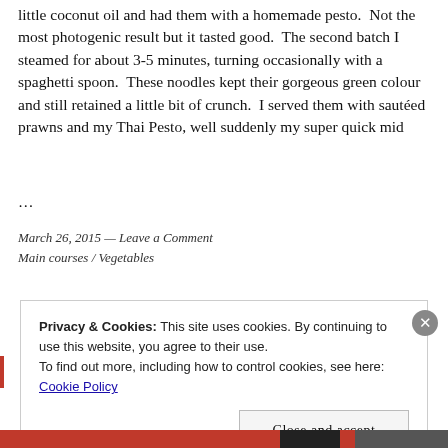little coconut oil and had them with a homemade pesto. Not the most photogenic result but it tasted good. The second batch I steamed for about 3-5 minutes, turning occasionally with a spaghetti spoon. These noodles kept their gorgeous green colour and still retained a little bit of crunch. I served them with sautéed prawns and my Thai Pesto, well suddenly my super quick mid ...
March 26, 2015 — Leave a Comment
Main courses / Vegetables
Privacy & Cookies: This site uses cookies. By continuing to use this website, you agree to their use.
To find out more, including how to control cookies, see here: Cookie Policy
Close and accept